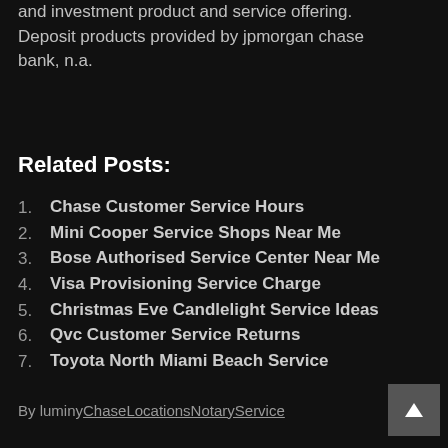and investment product and service offering. Deposit products provided by jpmorgan chase bank, n.a.
Related Posts:
Chase Customer Service Hours
Mini Cooper Service Shops Near Me
Bose Authorised Service Center Near Me
Visa Provisioning Service Charge
Christmas Eve Candlelight Service Ideas
Qvc Customer Service Returns
Toyota North Miami Beach Service
By luminyChaseLocationsNotaryService